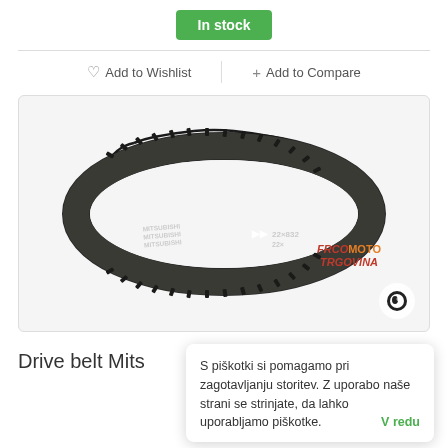In stock
♡ Add to Wishlist
+ Add to Compare
[Figure (photo): A dark gray/black Mitsubishi drive belt (V-belt) shown in an oval loop, with visible teeth/ribs on the inner surface. The belt is labeled MITSUBISHI and shows dimensions 22×832. A watermark reads FRCO MOTO TRGOVINA.]
Drive belt Mits
S piškotki si pomagamo pri zagotavljanju storitev. Z uporabo naše strani se strinjate, da lahko uporabljamo piškotke. V redu